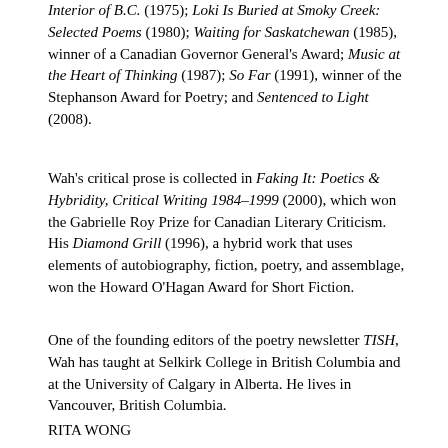Interior of B.C. (1975); Loki Is Buried at Smoky Creek: Selected Poems (1980); Waiting for Saskatchewan (1985), winner of a Canadian Governor General's Award; Music at the Heart of Thinking (1987); So Far (1991), winner of the Stephanson Award for Poetry; and Sentenced to Light (2008).
Wah's critical prose is collected in Faking It: Poetics & Hybridity, Critical Writing 1984–1999 (2000), which won the Gabrielle Roy Prize for Canadian Literary Criticism. His Diamond Grill (1996), a hybrid work that uses elements of autobiography, fiction, poetry, and assemblage, won the Howard O'Hagan Award for Short Fiction.
One of the founding editors of the poetry newsletter TISH, Wah has taught at Selkirk College in British Columbia and at the University of Calgary in Alberta. He lives in Vancouver, British Columbia.
RITA WONG